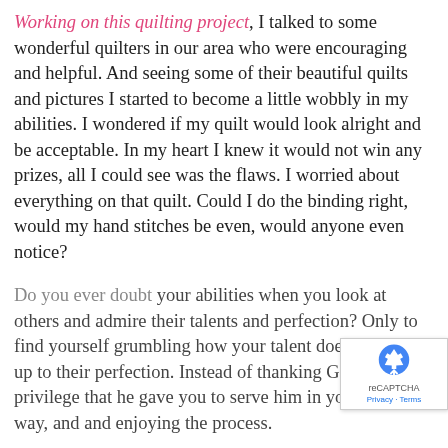Working on this quilting project, I talked to some wonderful quilters in our area who were encouraging and helpful. And seeing some of their beautiful quilts and pictures I started to become a little wobbly in my abilities. I wondered if my quilt would look alright and be acceptable. In my heart I knew it would not win any prizes, all I could see was the flaws. I worried about everything on that quilt. Could I do the binding right, would my hand stitches be even, would anyone even notice?
Do you ever doubt your abilities when you look at others and admire their talents and perfection? Only to find yourself grumbling how your talent doesn't measure up to their perfection. Instead of thanking God for the privilege that he gave you to serve him in your special way, and enjoying the process.
When my son-in-law came for a visit and helping me to